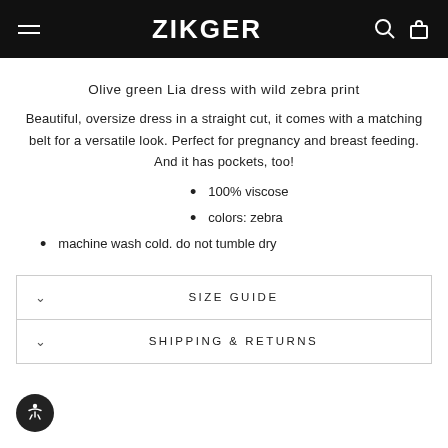ZIKGER
Olive green Lia dress with wild zebra print
Beautiful, oversize dress in a straight cut, it comes with a matching belt for a versatile look. Perfect for pregnancy and breast feeding. And it has pockets, too!
100% viscose
colors: zebra
machine wash cold. do not tumble dry
SIZE GUIDE
SHIPPING & RETURNS